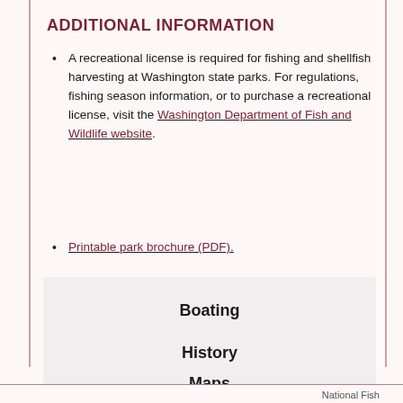ADDITIONAL INFORMATION
A recreational license is required for fishing and shellfish harvesting at Washington state parks. For regulations, fishing season information, or to purchase a recreational license, visit the Washington Department of Fish and Wildlife website.
Printable park brochure (PDF).
Boating
History
Maps
National Fish